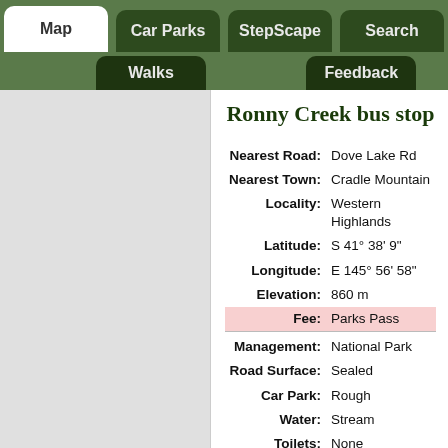Map | Car Parks | StepScape | Search | Walks | Feedback
Ronny Creek bus stop
| Field | Value |
| --- | --- |
| Nearest Road: | Dove Lake Rd |
| Nearest Town: | Cradle Mountain |
| Locality: | Western Highlands |
| Latitude: | S 41° 38' 9" |
| Longitude: | E 145° 56' 58" |
| Elevation: | 860 m |
| Fee: | Parks Pass |
| Management: | National Park |
| Road Surface: | Sealed |
| Car Park: | Rough |
| Water: | Stream |
| Toilets: | None |
| Toilet Accessibility: | No toilet |